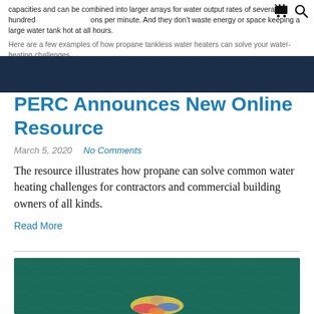capacities and can be combined into larger arrays for water output rates of several hundred gallons per minute. And they don't waste energy or space keeping a large water tank hot at all hours.
Here are a few examples of how propane tankless water heaters can solve your water-heating challenges.
[Figure (other): Dark navy blue banner/header bar]
PERC Announces New Online Resource
March 5, 2020   No Comments
The resource illustrates how propane can solve common water heating challenges for contractors and commercial building owners of all kinds.
Read More
[Figure (photo): Aerial view of a person floating on colorful floaties on dark teal/green water, shot from above]